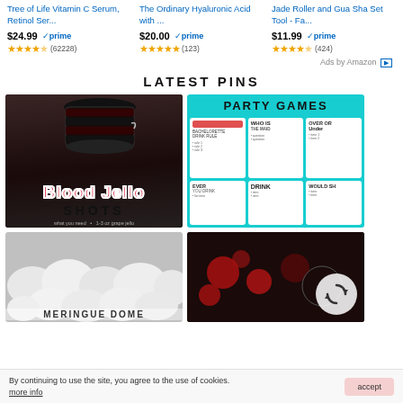[Figure (screenshot): Product listing row with three Amazon products: Tree of Life Vitamin C Serum at $24.99 prime (62228 reviews, ~4.5 stars), The Ordinary Hyaluronic Acid at $20.00 prime (123 reviews, ~4.5 stars), Jade Roller and Gua Sha Set at $11.99 prime (424 reviews, ~4.5 stars)]
Ads by Amazon
LATEST PINS
[Figure (photo): Blood Jello Shots recipe card with dark background, jello cups at top, red stylized text reading Blood Jello and SHOTS below]
[Figure (photo): Party Games bachelorette printable cards on teal background with text PARTY GAMES, WHO IS, OVER OR UNDER, EVER, YOU DRINK, DRINK, WOULD SH]
[Figure (photo): White meringue cookies on grey background]
[Figure (photo): Dark background with red and black items, circular arrow icon overlay]
By continuing to use the site, you agree to the use of cookies. more info
accept